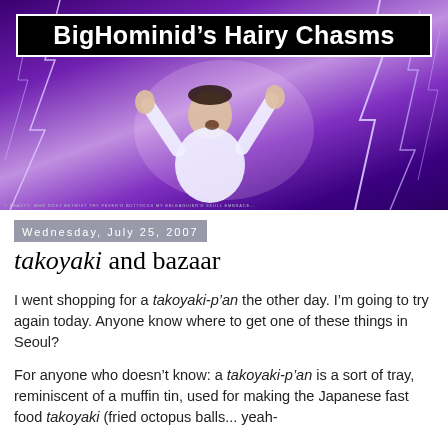[Figure (photo): Blog banner header image showing a man with arms raised against a purple lightning storm background, with the blog title 'BigHominid's Hairy Chasms' in a black box with white border at the top. Small caption text at the bottom of the image.]
Wednesday, July 25, 2007
takoyaki and bazaar
I went shopping for a takoyaki-p'an the other day. I'm going to try again today. Anyone know where to get one of these things in Seoul?
For anyone who doesn't know: a takoyaki-p'an is a sort of tray, reminiscent of a muffin tin, used for making the Japanese fast food takoyaki (fried octopus balls... yeah-